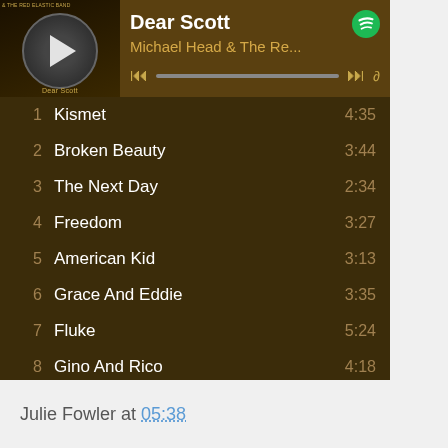[Figure (screenshot): Spotify player showing 'Dear Scott' by Michael Head & The Re... with album art, playback controls, and a tracklist of 10 songs on a dark golden-brown background.]
Julie Fowler at 05:38